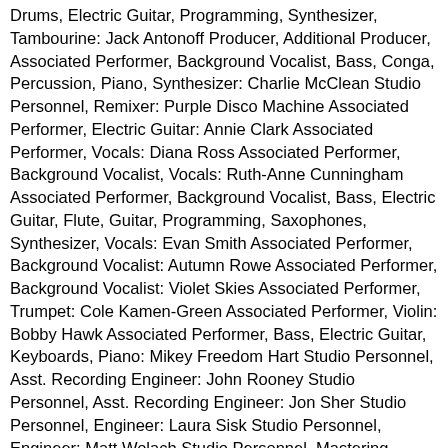Drums, Electric Guitar, Programming, Synthesizer, Tambourine: Jack Antonoff Producer, Additional Producer, Associated Performer, Background Vocalist, Bass, Conga, Percussion, Piano, Synthesizer: Charlie McClean Studio Personnel, Remixer: Purple Disco Machine Associated Performer, Electric Guitar: Annie Clark Associated Performer, Vocals: Diana Ross Associated Performer, Background Vocalist, Vocals: Ruth-Anne Cunningham Associated Performer, Background Vocalist, Bass, Electric Guitar, Flute, Guitar, Programming, Saxophones, Synthesizer, Vocals: Evan Smith Associated Performer, Background Vocalist: Autumn Rowe Associated Performer, Background Vocalist: Violet Skies Associated Performer, Trumpet: Cole Kamen-Green Associated Performer, Violin: Bobby Hawk Associated Performer, Bass, Electric Guitar, Keyboards, Piano: Mikey Freedom Hart Studio Personnel, Asst. Recording Engineer: John Rooney Studio Personnel, Asst. Recording Engineer: Jon Sher Studio Personnel, Engineer: Laura Sisk Studio Personnel, Engineer: Matt Wolach Studio Personnel, Mastering Engineer: Tim Debney Studio Personnel, Remix Engineer: David “Monte” Palicke Associated Performer, Keyboards, Programming: Tino Pionek Composer Lyricist: